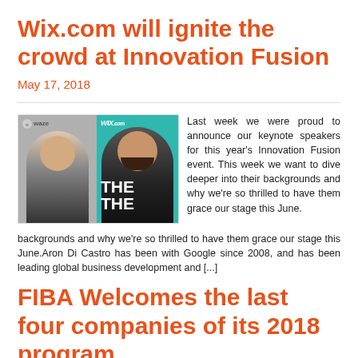Wix.com will ignite the crowd at Innovation Fusion
May 17, 2018
[Figure (photo): Two speakers side by side: a man with short hair on a grey background (waze logo), and a man with beard on teal background (WIX.com logo) with THE text visible]
Last week we were proud to announce our keynote speakers for this year's Innovation Fusion event. This week we want to dive deeper into their backgrounds and why we're so thrilled to have them grace our stage this June.Aron Di Castro has been with Google since 2008, and has been leading global business development and [...]
FIBA Welcomes the last four companies of its 2018 program...
May 10, 2018